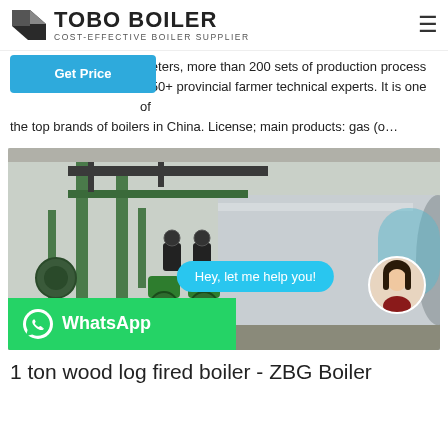TOBO BOILER — COST-EFFECTIVE BOILER SUPPLIER
meters, more than 200 sets of production process d 50+ provincial farmer technical experts. It is one of the top brands of boilers in China. License; main products: gas (o…
[Figure (photo): Industrial boiler room with green-painted pipe systems and horizontal cylindrical boiler vessel. Chat interface overlay showing 'Hey, let me help you!' bubble with female avatar. WhatsApp bar at bottom left.]
1 ton wood log fired boiler - ZBG Boiler